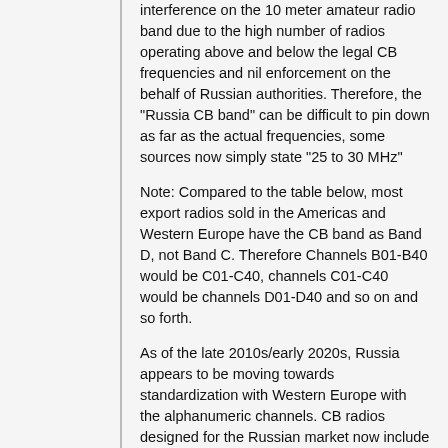interference on the 10 meter amateur radio band due to the high number of radios operating above and below the legal CB frequencies and nil enforcement on the behalf of Russian authorities. Therefore, the "Russia CB band" can be difficult to pin down as far as the actual frequencies, some sources now simply state "25 to 30 MHz"
Note: Compared to the table below, most export radios sold in the Americas and Western Europe have the CB band as Band D, not Band C. Therefore Channels B01-B40 would be C01-C40, channels C01-C40 would be channels D01-D40 and so on and so forth.
As of the late 2010s/early 2020s, Russia appears to be moving towards standardization with Western Europe with the alphanumeric channels. CB radios designed for the Russian market now include a "15D" button and a -5 kHz button. The Channel 15D button either switches to 27.135 MHz or 27.585 MHz ("standard" Russian band shown as 26.960 MHz - 27.860 MHz, which fits with the -5 kHz